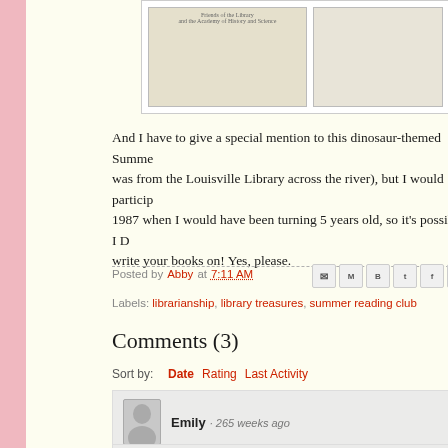[Figure (photo): Two scanned book/document images side by side at the top of the page]
And I have to give a special mention to this dinosaur-themed Summe... was from the Louisville Library across the river), but I would particip... 1987 when I would have been turning 5 years old, so it's possible I D... write your books on! Yes, please.
Posted by Abby at 7:11 AM
Labels: librarianship, library treasures, summer reading club
Comments (3)
Sort by: Date  Rating  Last Activity
Emily · 265 weeks ago
These are awesome! Thanks for sharing.
Melanie · 264 weeks ago